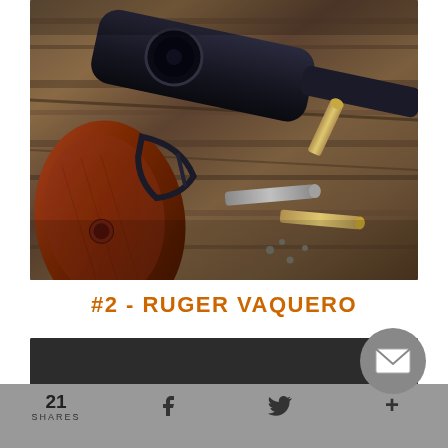[Figure (photo): Close-up photo of a Colt revolver with wooden grip on a wooden plank surface, with bullet casings and small screws scattered nearby]
#2 - RUGER VAQUERO
[Figure (screenshot): Dark banner/content area below the title, partially cut off, with a circular email/envelope icon button on the right side]
21 SHARES
f
t (Twitter bird icon)
+